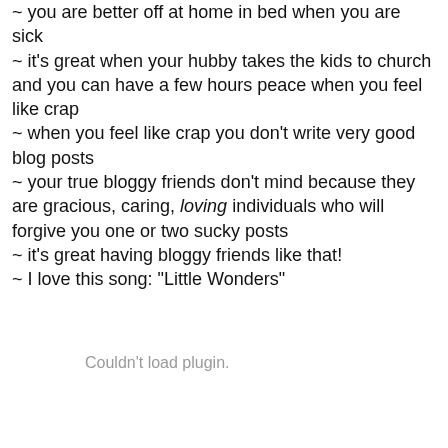~ you are better off at home in bed when you are sick
~ it's great when your hubby takes the kids to church and you can have a few hours peace when you feel like crap
~ when you feel like crap you don't write very good blog posts
~ your true bloggy friends don't mind because they are gracious, caring, loving individuals who will forgive you one or two sucky posts
~ it's great having bloggy friends like that!
~ I love this song: "Little Wonders"
Couldn't load plugin.